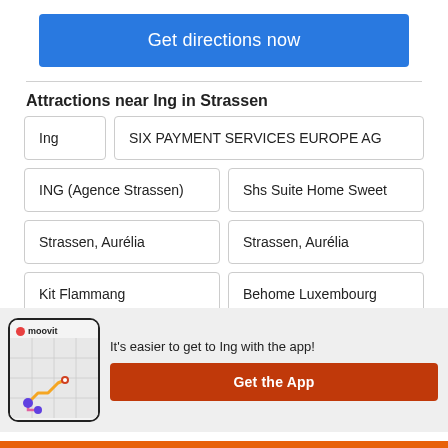Get directions now
Attractions near Ing in Strassen
Ing
SIX PAYMENT SERVICES EUROPE AG
ING (Agence Strassen)
Shs Suite Home Sweet
Strassen, Aurélia
Strassen, Aurélia
Kit Flammang
Behome Luxembourg
[Figure (screenshot): Moovit app phone mockup showing a map with transit route]
It's easier to get to Ing with the app!
Get the App